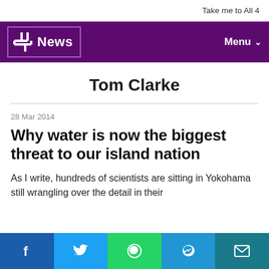Take me to All 4
Channel 4 News | Menu
Tom Clarke
28 Mar 2014
Why water is now the biggest threat to our island nation
As I write, hundreds of scientists are sitting in Yokohama still wrangling over the detail in their